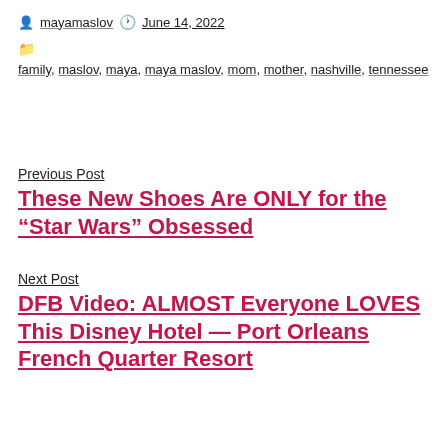By mayamaslov  June 14, 2022
family, maslov, maya, maya maslov, mom, mother, nashville, tennessee
Previous Post
These New Shoes Are ONLY for the “Star Wars” Obsessed
Next Post
DFB Video: ALMOST Everyone LOVES This Disney Hotel — Port Orleans French Quarter Resort